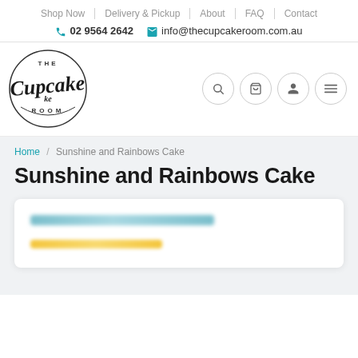Shop Now | Delivery & Pickup | About | FAQ | Contact
02 9564 2642  info@thecupcakeroom.com.au
[Figure (logo): The Cupcake Room logo — circular badge with stylized handwritten 'Cupcake' text and 'THE' and 'ROOM' in small caps]
Navigation icons: search, cart, account, menu
Home / Sunshine and Rainbows Cake
Sunshine and Rainbows Cake
[Figure (screenshot): Blurred/redacted content card with two obscured lines of text — one teal/blue blurred line and one yellow blurred bar]